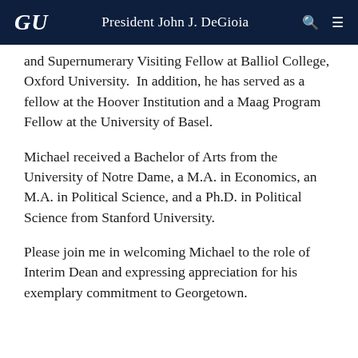GU  President John J. DeGioia
and Supernumerary Visiting Fellow at Balliol College, Oxford University.  In addition, he has served as a fellow at the Hoover Institution and a Maag Program Fellow at the University of Basel.
Michael received a Bachelor of Arts from the University of Notre Dame, a M.A. in Economics, an M.A. in Political Science, and a Ph.D. in Political Science from Stanford University.
Please join me in welcoming Michael to the role of Interim Dean and expressing appreciation for his exemplary commitment to Georgetown.